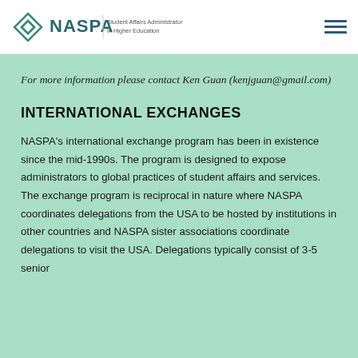[Figure (logo): NASPA logo with diamond icon and text 'Student Affairs Administrators in Higher Education']
For more information please contact Ken Guan (kenjguan@gmail.com)
INTERNATIONAL EXCHANGES
NASPA's international exchange program has been in existence since the mid-1990s. The program is designed to expose administrators to global practices of student affairs and services. The exchange program is reciprocal in nature where NASPA coordinates delegations from the USA to be hosted by institutions in other countries and NASPA sister associations coordinate delegations to visit the USA. Delegations typically consist of 3-5 senior